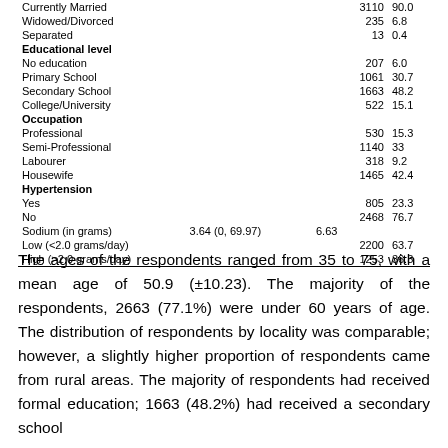|  | Mean (range) / Median | SD | N | % |
| --- | --- | --- | --- | --- |
| Currently Married |  |  | 3110 | 90.0 |
| Widowed/Divorced |  |  | 235 | 6.8 |
| Separated |  |  | 13 | 0.4 |
| Educational level |  |  |  |  |
| No education |  |  | 207 | 6.0 |
| Primary School |  |  | 1061 | 30.7 |
| Secondary School |  |  | 1663 | 48.2 |
| College/University |  |  | 522 | 15.1 |
| Occupation |  |  |  |  |
| Professional |  |  | 530 | 15.3 |
| Semi-Professional |  |  | 1140 | 33 |
| Labourer |  |  | 318 | 9.2 |
| Housewife |  |  | 1465 | 42.4 |
| Hypertension |  |  |  |  |
| Yes |  |  | 805 | 23.3 |
| No |  |  | 2468 | 76.7 |
| Sodium (in grams) | 3.64 (0, 69.97) | 6.63 |  |  |
| Low (<2.0 grams/day) |  |  | 2200 | 63.7 |
| High (>2.0 grams/day) |  |  | 1253 | 36.3 |
The ages of the respondents ranged from 35 to 75, with a mean age of 50.9 (±10.23). The majority of the respondents, 2663 (77.1%) were under 60 years of age. The distribution of respondents by locality was comparable; however, a slightly higher proportion of respondents came from rural areas. The majority of respondents had received formal education; 1663 (48.2%) had received a secondary school